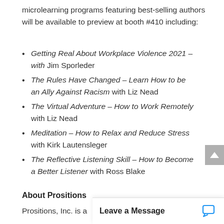microlearning programs featuring best-selling authors will be available to preview at booth #410 including:
Getting Real About Workplace Violence 2021 – with Jim Sporleder
The Rules Have Changed – Learn How to be an Ally Against Racism with Liz Nead
The Virtual Adventure – How to Work Remotely with Liz Nead
Meditation – How to Relax and Reduce Stress with Kirk Lautensleger
The Reflective Listening Skill – How to Become a Better Listener with Ross Blake
About Prositions
Prositions, Inc. is a